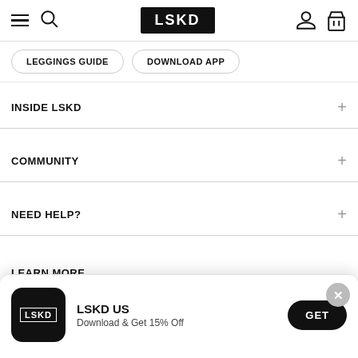[Figure (screenshot): LSKD website header with hamburger menu, search icon, LSKD logo in black box, user account icon, and shopping bag icon]
LEGGINGS GUIDE
DOWNLOAD APP
INSIDE LSKD
COMMUNITY
NEED HELP?
LEARN MORE
[Figure (infographic): App download popup banner with LSKD logo icon, text 'LSKD US Download & Get 15% Off', and a GET button]